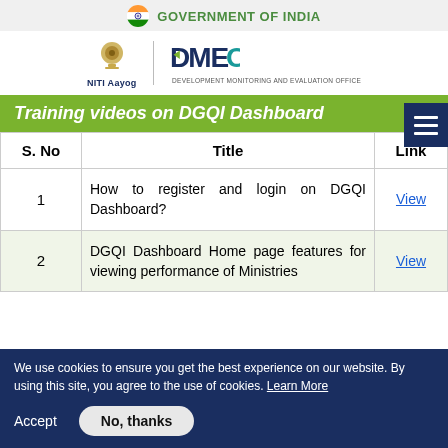GOVERNMENT OF INDIA
[Figure (logo): NITI Aayog and DMEO logos side by side]
Training videos on DGQI Dashboard
| S. No | Title | Link |
| --- | --- | --- |
| 1 | How to register and login on DGQI Dashboard? | View |
| 2 | DGQI Dashboard Home page features for viewing performance of Ministries | View |
We use cookies to ensure you get the best experience on our website. By using this site, you agree to the use of cookies. Learn More
Accept   No, thanks